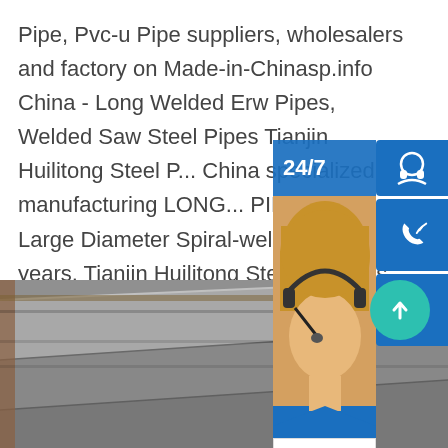Pipe, Pvc-u Pipe suppliers, wholesalers and factory on Made-in-Chinasp.info China - Long Welded Erw Pipes, Welded Saw Steel Pipes Tianjin Huilitong Steel P... China specialized in manufacturing LONG... PIPES and Large Diameter Spiral-welded... 15 years. Tianjin Huilitong Steel Pipe has... by API 5L (License Number:0654), ISO90... 2008,Lloyd's Register-FPC (EN10210-1... 1/2,EN10217-1),PED 97/23/EC,Lloyd's R... Assurance.
[Figure (screenshot): Customer service overlay widget with 24/7 label, headphone icon, phone icon, Skype icon, and 'online live' button over a customer support representative photo]
[Figure (photo): Close-up photo of gray steel plate with horizontal lines/seams visible]